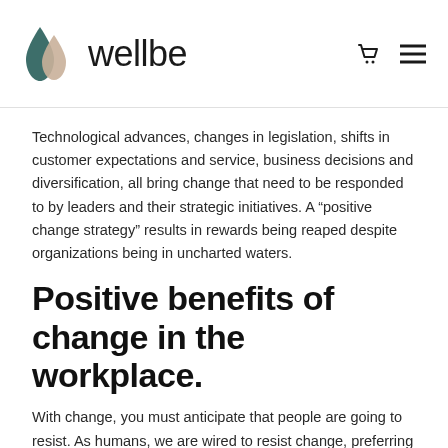wellbe
Technological advances, changes in legislation, shifts in customer expectations and service, business decisions and diversification, all bring change that need to be responded to by leaders and their strategic initiatives. A “positive change strategy” results in rewards being reaped despite organizations being in uncharted waters.
Positive benefits of change in the workplace.
With change, you must anticipate that people are going to resist. As humans, we are wired to resist change, preferring the status quo, routine and a sense of security